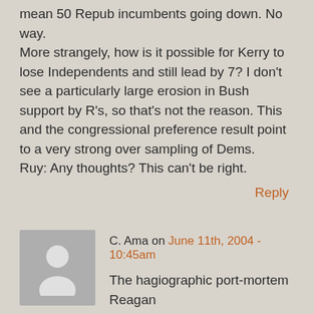mean 50 Repub incumbents going down. No way.
More strangely, how is it possible for Kerry to lose Independents and still lead by 7? I don't see a particularly large erosion in Bush support by R's, so that's not the reason. This and the congressional preference result point to a very strong over sampling of Dems.
Ruy: Any thoughts? This can't be right.
Reply
C. Ama on June 11th, 2004 - 10:45am
The hagiographic port-mortem Reagan